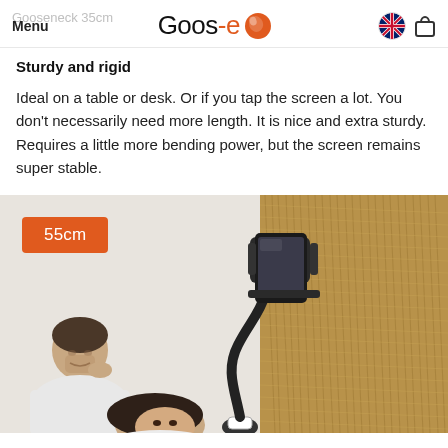Menu  Goos-e  Gooseneck 35cm
Sturdy and rigid
Ideal on a table or desk. Or if you tap the screen a lot. You don't necessarily need more length. It is nice and extra sturdy. Requires a little more bending power, but the screen remains super stable.
[Figure (photo): Two people (a man and a woman) relaxing, with a tablet held on a gooseneck holder mounted near them. The background shows a woven straw/rattan wall. An orange badge reads '55cm'.]